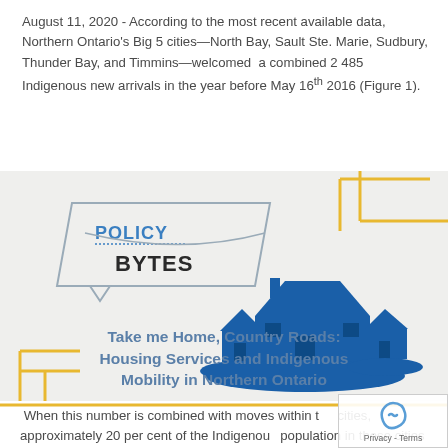August 11, 2020 - According to the most recent available data, Northern Ontario's Big 5 cities—North Bay, Sault Ste. Marie, Sudbury, Thunder Bay, and Timmins—welcomed a combined 2 485 Indigenous new arrivals in the year before May 16th 2016 (Figure 1).
[Figure (logo): Policy Bytes logo (speech bubble style) alongside a silhouette illustration of houses in blue, on a decorative background with gold line accents]
Take me Home, Country Roads: Housing Services and Indigenous Mobility in Northern Ontario
When this number is combined with moves within the cities, approximately 20 per cent of the Indigenous population in these cities had moved that year, compared to only 11 per cent of the non-Indigenous